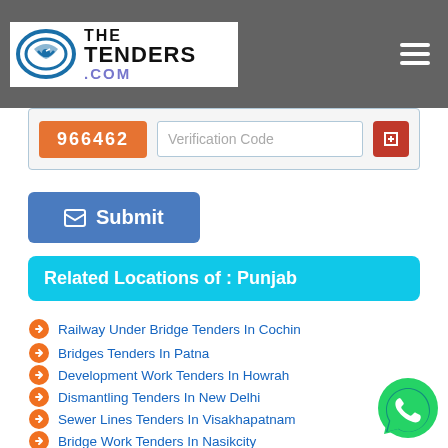The Tenders .com
[Figure (screenshot): Captcha verification row with orange code '966462' and input field labeled 'Verification Code' and red button]
[Figure (screenshot): Blue Submit button with envelope icon]
Related Locations of : Punjab
Railway Under Bridge Tenders In Cochin
Bridges Tenders In Patna
Development Work Tenders In Howrah
Dismantling Tenders In New Delhi
Sewer Lines Tenders In Visakhapatnam
Bridge Work Tenders In Nasikcity
Infrastructural Works Tenders In Meerut
Irrigation Tenders In Hyderabad
Civil Infrastructure Work Tenders In Patiala